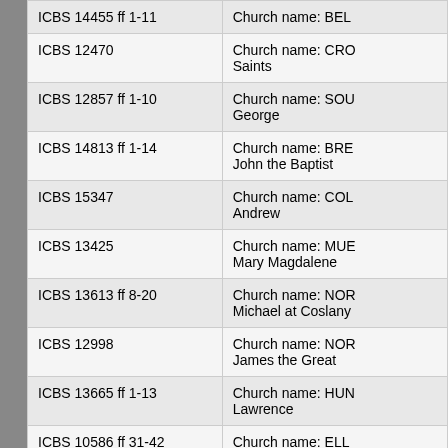| Reference | Description |
| --- | --- |
| ICBS 14455 ff 1-11 | Church name: BEL... |
| ICBS 12470 | Church name: CRO... Saints |
| ICBS 12857 ff 1-10 | Church name: SOU... George |
| ICBS 14813 ff 1-14 | Church name: BRE... John the Baptist |
| ICBS 15347 | Church name: COL... Andrew |
| ICBS 13425 | Church name: MUE... Mary Magdalene |
| ICBS 13613 ff 8-20 | Church name: NOR... Michael at Coslany |
| ICBS 12998 | Church name: NOR... James the Great |
| ICBS 13665 ff 1-13 | Church name: HUN... Lawrence |
| ICBS 10586 ff 31-42 | Church name: ELL... GREAT, St. James |
| ICBS 13692 ff 38-45 | Church name: REY... Peter |
| ICBS 13021 ff 13-29 | Church name: WAL... |